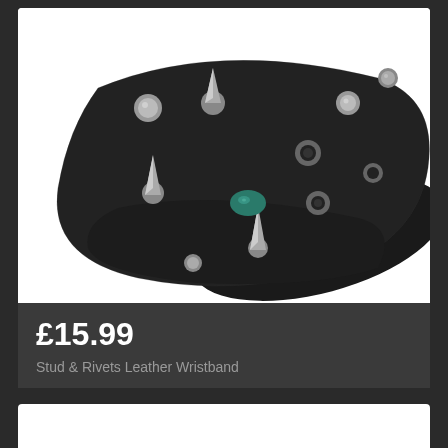[Figure (photo): Black leather wristband/bracelet with metal studs, spike rivets, eyelets/grommets, and a turquoise stone accent, photographed on a white background.]
£15.99
Stud & Rivets Leather Wristband